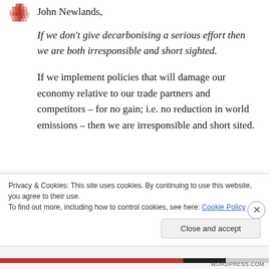[Figure (logo): Red pixelated/mosaic circular logo in top left corner]
John Newlands,
If we don't give decarbonising a serious effort then we are both irresponsible and short sighted.
If we implement policies that will damage our economy relative to our trade partners and competitors – for no gain; i.e. no reduction in world emissions – then we are irresponsible and short sited.
Privacy & Cookies: This site uses cookies. By continuing to use this website, you agree to their use.
To find out more, including how to control cookies, see here: Cookie Policy
Close and accept